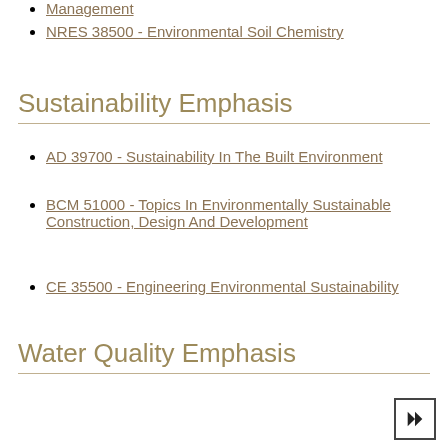NRES 38500 - Environmental Soil Chemistry
Sustainability Emphasis
AD 39700 - Sustainability In The Built Environment
BCM 51000 - Topics In Environmentally Sustainable Construction, Design And Development
CE 35500 - Engineering Environmental Sustainability
Water Quality Emphasis
ABE 32500 - Soil And Water Resource Engineering
AGRY 12000 - Water And Food Security
AGRY 33700 - Environmental Hydrology
Note